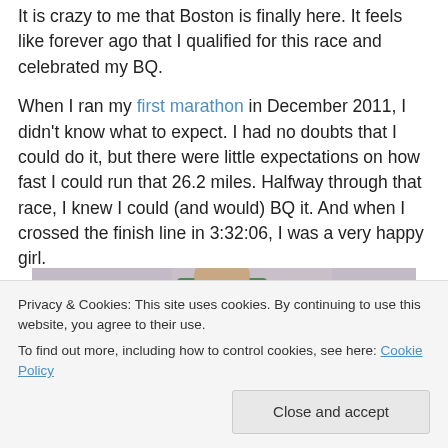It is crazy to me that Boston is finally here. It feels like forever ago that I qualified for this race and celebrated my BQ.
When I ran my first marathon in December 2011, I didn't know what to expect. I had no doubts that I could do it, but there were little expectations on how fast I could run that 26.2 miles. Halfway through that race, I knew I could (and would) BQ it. And when I crossed the finish line in 3:32:06, I was a very happy girl.
[Figure (photo): A photo showing a runner in a green outfit at what appears to be a race finish area, partially visible]
Privacy & Cookies: This site uses cookies. By continuing to use this website, you agree to their use.
To find out more, including how to control cookies, see here: Cookie Policy